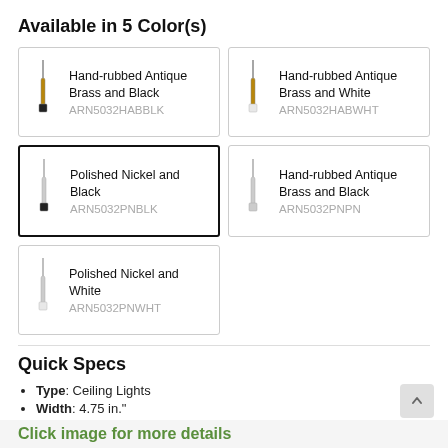Available in 5 Color(s)
[Figure (illustration): Color variant card: Hand-rubbed Antique Brass and Black, SKU ARN5032HABBLK, with pendant light illustration]
[Figure (illustration): Color variant card: Hand-rubbed Antique Brass and White, SKU ARN5032HABWHT, with pendant light illustration]
[Figure (illustration): Color variant card (selected): Polished Nickel and Black, SKU ARN5032PNBLK, with pendant light illustration]
[Figure (illustration): Color variant card: Hand-rubbed Antique Brass and Black, SKU ARN5032PNPN, with pendant light illustration]
[Figure (illustration): Color variant card: Polished Nickel and White, SKU ARN5032PNWHT, with pendant light illustration]
Quick Specs
Type: Ceiling Lights
Width: 4.75 in."
Height: 18.00 in."
Click image for more details